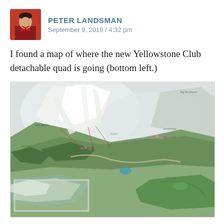PETER LANDSMAN
September 9, 2019 / 4:32 pm
I found a map of where the new Yellowstone Club detachable quad is going (bottom left.)
[Figure (map): 3D aerial illustrated map of the Yellowstone Club ski resort showing mountain terrain, ski runs, buildings, and surrounding landscape with snow-covered peaks. A rectangular outlined area in the bottom left indicates the location of the new detachable quad lift.]